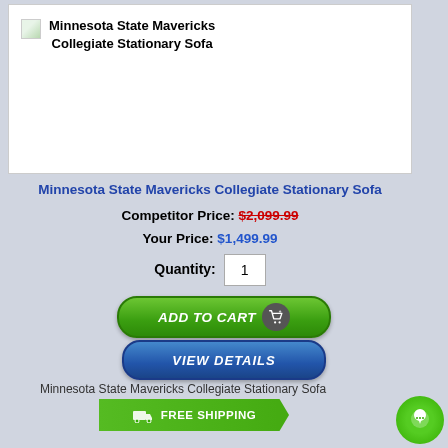[Figure (photo): Product image placeholder for Minnesota State Mavericks Collegiate Stationary Sofa with image icon and title text]
Minnesota State Mavericks Collegiate Stationary Sofa
Competitor Price: $2,099.99
Your Price: $1,499.99
Quantity: 1
[Figure (other): Add to Cart button (green rounded button with shopping cart icon)]
[Figure (other): View Details button (blue rounded button)]
Minnesota State Mavericks Collegiate Stationary Sofa
[Figure (other): Free Shipping banner (green banner with truck icon and FREE SHIPPING text)]
[Figure (other): Chat bubble icon (green circular chat button)]